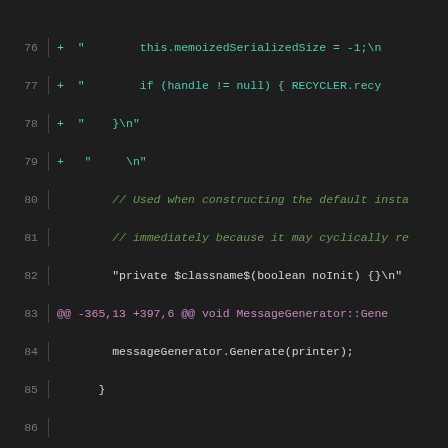[Figure (screenshot): Code diff view showing lines 76-96 of a C++ source file with additions (green) and deletions (red) in a dark-themed code editor. Lines include Java/C++ code related to message generators, serialization, and bit fields.]